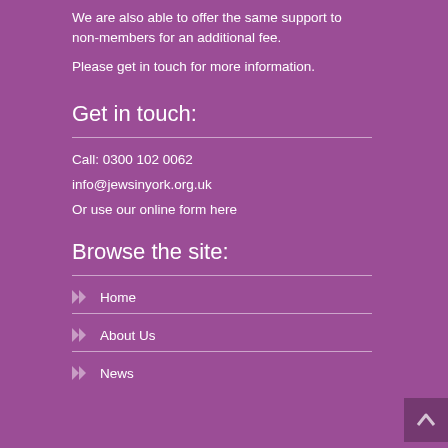We are also able to offer the same support to non-members for an additional fee.
Please get in touch for more information.
Get in touch:
Call: 0300 102 0062
info@jewsinyork.org.uk
Or use our online form here
Browse the site:
Home
About Us
News